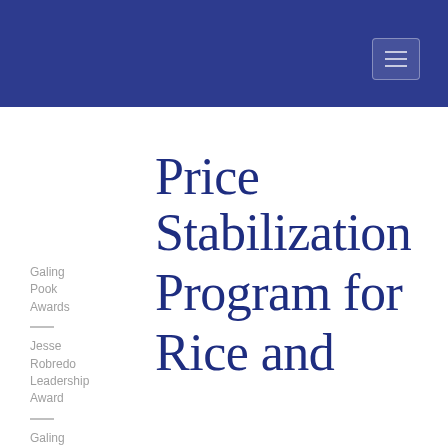Galing Pook Awards
Jesse Robredo Leadership Award
Galing
Price Stabilization Program for Rice and